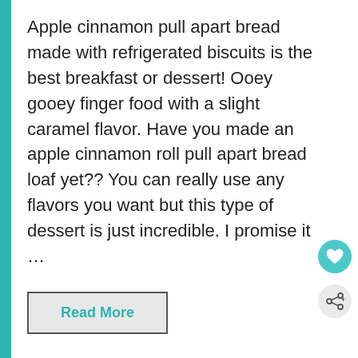Apple cinnamon pull apart bread made with refrigerated biscuits is the best breakfast or dessert! Ooey gooey finger food with a slight caramel flavor. Have you made an apple cinnamon roll pull apart bread loaf yet?? You can really use any flavors you want but this type of dessert is just incredible. I promise it …
Read More